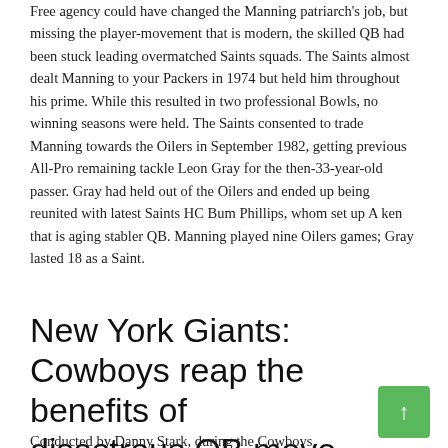Free agency could have changed the Manning patriarch's job, but missing the player-movement that is modern, the skilled QB had been stuck leading overmatched Saints squads. The Saints almost dealt Manning to your Packers in 1974 but held him throughout his prime. While this resulted in two professional Bowls, no winning seasons were held. The Saints consented to trade Manning towards the Oilers in September 1982, getting previous All-Pro remaining tackle Leon Gray for the then-33-year-old passer. Gray had held out of the Oilers and ended up being reunited with latest Saints HC Bum Phillips, whom set up A ken that is aging stabler QB. Manning played nine Oilers games; Gray lasted 18 as a Saint.
New York Giants: Cowboys reap the benefits of disastrous QB move
Conducted by Danny Stark, during the Cowboys...